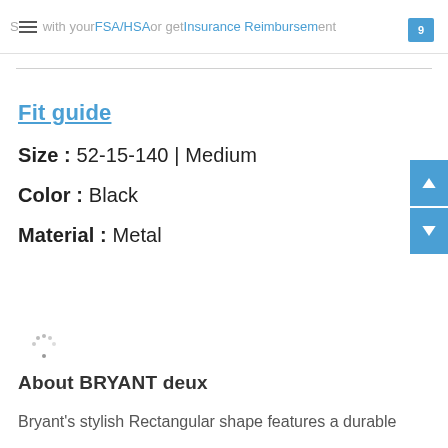S≡ with your FSA/HSA or get Insurance Reimbursement
Fit guide
Size : 52-15-140 | Medium
Color : Black
Material : Metal
About BRYANT deux
Bryant's stylish Rectangular shape features a durable